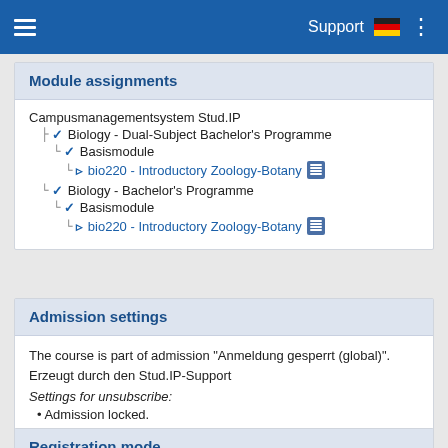Support
Module assignments
Campusmanagementsystem Stud.IP
  ✓ Biology - Dual-Subject Bachelor's Programme
    └ ✓ Basismodule
      └ › bio220 - Introductory Zoology-Botany
  ✓ Biology - Bachelor's Programme
    └ ✓ Basismodule
      └ › bio220 - Introductory Zoology-Botany
Admission settings
The course is part of admission "Anmeldung gesperrt (global)". Erzeugt durch den Stud.IP-Support
Settings for unsubscribe:
Admission locked.
Registration mode